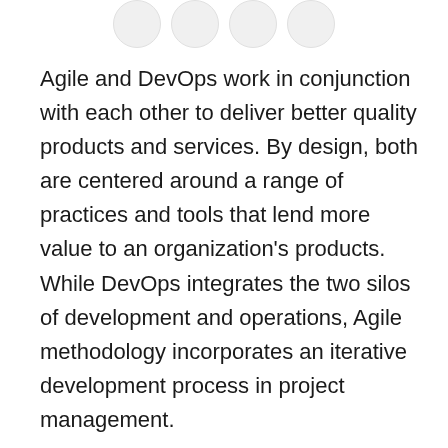[Figure (other): Row of four circular icon buttons at the top of the page]
Agile and DevOps work in conjunction with each other to deliver better quality products and services. By design, both are centered around a range of practices and tools that lend more value to an organization's products. While DevOps integrates the two silos of development and operations, Agile methodology incorporates an iterative development process in project management.
In the age of digital transformation, both these tools are inevitable. Enterprises have already started adopting DevOps and Agile to compete in the fast-paced world of digital development.